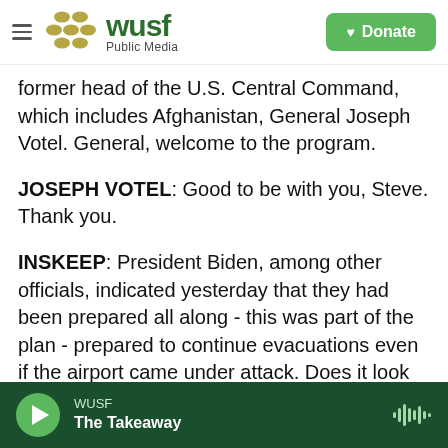[Figure (logo): WUSF Public Media logo with hamburger menu and Donate button]
former head of the U.S. Central Command, which includes Afghanistan, General Joseph Votel. General, welcome to the program.
JOSEPH VOTEL: Good to be with you, Steve. Thank you.
INSKEEP: President Biden, among other officials, indicated yesterday that they had been prepared all along - this was part of the plan - prepared to continue evacuations even if the airport came under attack. Does it look like that's the way that they planned this and that they were able to keep
WUSF | The Takeaway